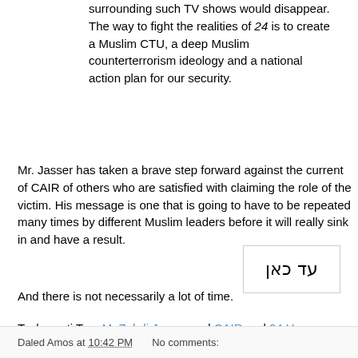surrounding such TV shows would disappear. The way to fight the realities of 24 is to create a Muslim CTU, a deep Muslim counterterrorism ideology and a national action plan for our security.
Mr. Jasser has taken a brave step forward against the current of CAIR of others who are satisfied with claiming the role of the victim. His message is one that is going to have to be repeated many times by different Muslim leaders before it will really sink in and have a result.
And there is not necessarily a lot of time.
[Figure (other): Hebrew text button reading 'עד כאן' with border]
Technorati Tag: M. Zuhdi Jasser and CAIR and 24 Hours.
Daled Amos at 10:42 PM   No comments: